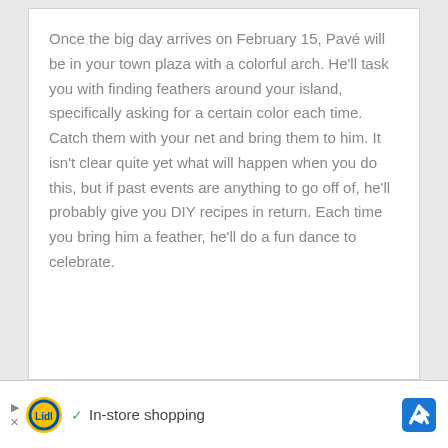Once the big day arrives on February 15, Pavé will be in your town plaza with a colorful arch. He'll task you with finding feathers around your island, specifically asking for a certain color each time. Catch them with your net and bring them to him. It isn't clear quite yet what will happen when you do this, but if past events are anything to go off of, he'll probably give you DIY recipes in return. Each time you bring him a feather, he'll do a fun dance to celebrate.
[Figure (logo): Lidl advertisement banner with Lidl logo, checkmark, 'In-store shopping' text, and a blue direction arrow icon]